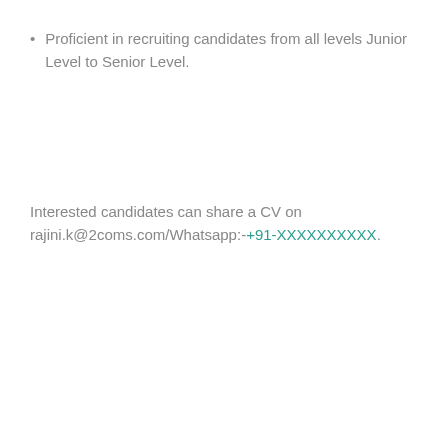Proficient in recruiting candidates from all levels Junior Level to Senior Level.
Interested candidates can share a CV on rajini.k@2coms.com/Whatsapp:-+91-XXXXXXXXXX.